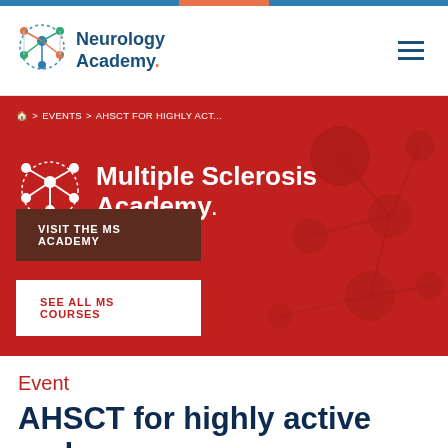[Figure (logo): Neurology Academy logo with colorful neural network icon and text 'Neurology Academy']
[Figure (illustration): Red hero banner with Multiple Sclerosis Academy logo and molecule background pattern, containing navigation breadcrumb and two buttons: 'VISIT THE MS ACADEMY' and 'SEE ALL MS COURSES']
Event
AHSCT for highly active and rapidly evolving MS